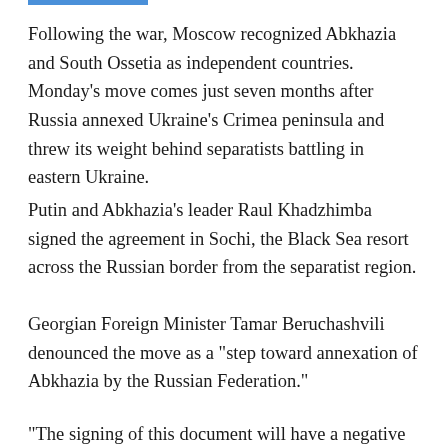Following the war, Moscow recognized Abkhazia and South Ossetia as independent countries. Monday's move comes just seven months after Russia annexed Ukraine's Crimea peninsula and threw its weight behind separatists battling in eastern Ukraine.
Putin and Abkhazia's leader Raul Khadzhimba signed the agreement in Sochi, the Black Sea resort across the Russian border from the separatist region.
Georgian Foreign Minister Tamar Beruchashvili denounced the move as a "step toward annexation of Abkhazia by the Russian Federation."
"The signing of this document will have a negative